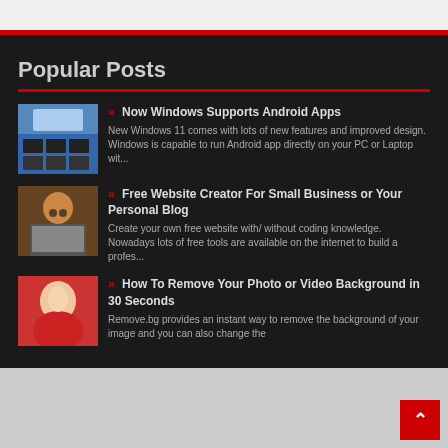Popular Posts
» Now Windows Supports Android Apps
New Windows 11 comes with lots of new features and improved design. Windows is capable to run Android app directly on your PC or Laptop wit...
» Free Website Creator For Small Business or Your Personal Blog
Create your own free website with/ without coding knowledge. Nowadays lots of free tools are available on the internet to build a profes...
» How To Remove Your Photo or Video Background in 30 Seconds
Remove.bg provides an instant way to remove the background of your image and you can also change the